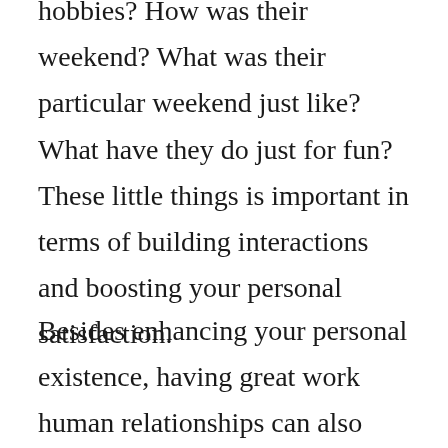hobbies? How was their weekend? What was their particular weekend just like? What have they do just for fun? These little things is important in terms of building interactions and boosting your personal satisfaction.
Besides enhancing your personal existence, having great work human relationships can also assist you to advance in the career. You will get more consumers through solid relationships, make your professional